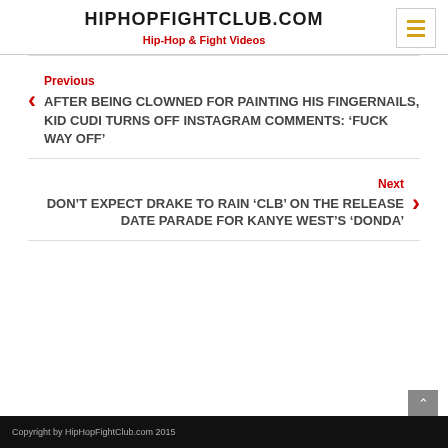HIPHOPFIGHTCLUB.COM
Hip-Hop & Fight Videos
Previous
AFTER BEING CLOWNED FOR PAINTING HIS FINGERNAILS, KID CUDI TURNS OFF INSTAGRAM COMMENTS: ‘FUCK WAY OFF’
Next
DON’T EXPECT DRAKE TO RAIN ‘CLB’ ON THE RELEASE DATE PARADE FOR KANYE WEST’S ‘DONDA’
Copyright by HipHopFightClub.com 2015